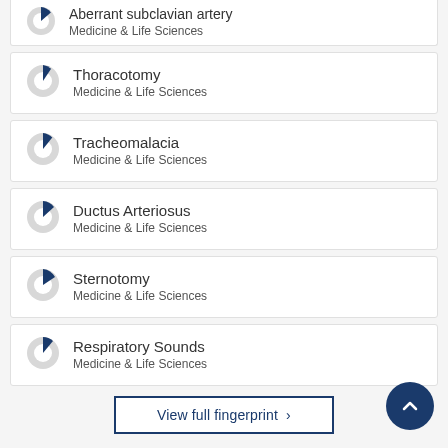[Figure (donut-chart): Small donut chart with blue slice for Aberrant subclavian artery]
Aberrant subclavian artery
Medicine & Life Sciences
[Figure (donut-chart): Small donut chart with blue slice for Thoracotomy]
Thoracotomy
Medicine & Life Sciences
[Figure (donut-chart): Small donut chart with blue slice for Tracheomalacia]
Tracheomalacia
Medicine & Life Sciences
[Figure (donut-chart): Small donut chart with blue slice for Ductus Arteriosus]
Ductus Arteriosus
Medicine & Life Sciences
[Figure (donut-chart): Small donut chart with blue slice for Sternotomy]
Sternotomy
Medicine & Life Sciences
[Figure (donut-chart): Small donut chart with blue slice for Respiratory Sounds]
Respiratory Sounds
Medicine & Life Sciences
View full fingerprint ›